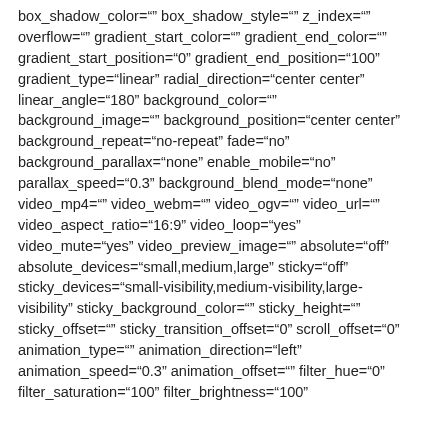box_shadow_color="" box_shadow_style="" z_index="" overflow="" gradient_start_color="" gradient_end_color="" gradient_start_position="0" gradient_end_position="100" gradient_type="linear" radial_direction="center center" linear_angle="180" background_color="" background_image="" background_position="center center" background_repeat="no-repeat" fade="no" background_parallax="none" enable_mobile="no" parallax_speed="0.3" background_blend_mode="none" video_mp4="" video_webm="" video_ogv="" video_url="" video_aspect_ratio="16:9" video_loop="yes" video_mute="yes" video_preview_image="" absolute="off" absolute_devices="small,medium,large" sticky="off" sticky_devices="small-visibility,medium-visibility,large-visibility" sticky_background_color="" sticky_height="" sticky_offset="" sticky_transition_offset="0" scroll_offset="0" animation_type="" animation_direction="left" animation_speed="0.3" animation_offset="" filter_hue="0" filter_saturation="100" filter_brightness="100"